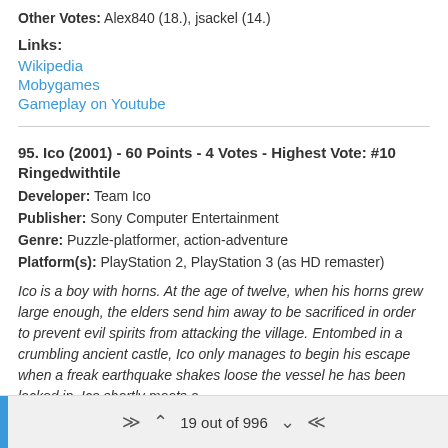Other Votes: Alex840 (18.), jsackel (14.)
Links:
Wikipedia
Mobygames
Gameplay on Youtube
95. Ico (2001) - 60 Points - 4 Votes - Highest Vote: #10
Ringedwithtile
Developer: Team Ico
Publisher: Sony Computer Entertainment
Genre: Puzzle-platformer, action-adventure
Platform(s): PlayStation 2, PlayStation 3 (as HD remaster)
Ico is a boy with horns. At the age of twelve, when his horns grew large enough, the elders send him away to be sacrificed in order to prevent evil spirits from attacking the village. Entombed in a crumbling ancient castle, Ico only manages to begin his escape when a freak earthquake shakes loose the vessel he has been locked in. Ico shortly meets a
19 out of 996